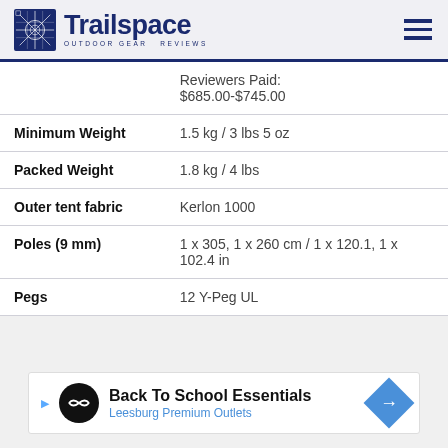Trailspace — Outdoor Gear Reviews
|  |  |
| --- | --- |
|  | Reviewers Paid:
$685.00-$745.00 |
| Minimum Weight | 1.5 kg / 3 lbs 5 oz |
| Packed Weight | 1.8 kg / 4 lbs |
| Outer tent fabric | Kerlon 1000 |
| Poles (9 mm) | 1 x 305, 1 x 260 cm / 1 x 120.1, 1 x 102.4 in |
| Pegs | 12 Y-Peg UL |
[Figure (other): Advertisement banner: Back To School Essentials — Leesburg Premium Outlets]